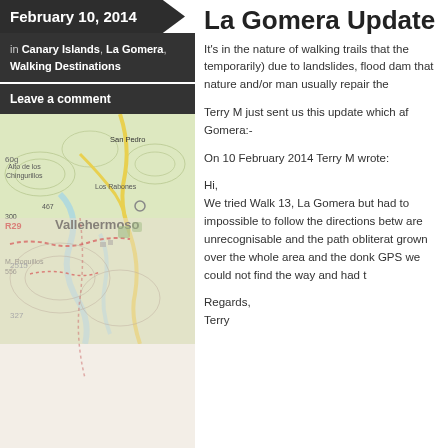February 10, 2014
in Canary Islands, La Gomera, Walking Destinations
Leave a comment
[Figure (map): Topographic map showing Vallehermoso and surrounding area in La Gomera, Canary Islands, with trails and landmarks]
La Gomera Update
It's in the nature of walking trails that the temporarily) due to landslides, flood dam that nature and/or man usually repair the
Terry M just sent us this update which af Gomera:-
On 10 February 2014 Terry M wrote:
Hi,
We tried Walk 13, La Gomera but had to impossible to follow the directions betw are unrecognisable and the path obliterat grown over the whole area and the donk GPS we could not find the way and had t
Regards,
Terry